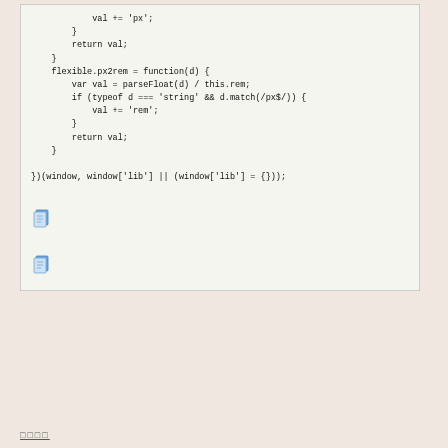[Figure (screenshot): Code block showing JavaScript functions: val += 'px', return val, closing brace, flexible.px2rem function definition with parseFloat, typeof check and val += 'rem', return val, and closing IIFE with window/lib parameters]
[Figure (other): Copy icon (clipboard emoji) - first]
[Figure (other): Copy icon (clipboard emoji) - second]
□□□□